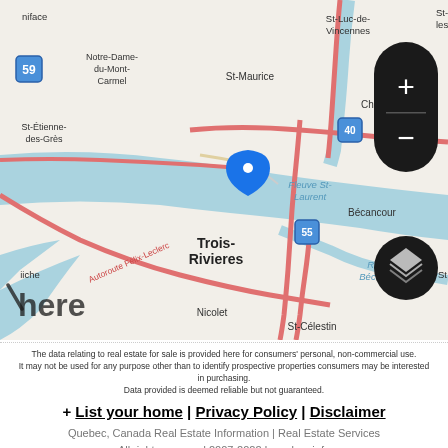[Figure (map): HERE map centered on Trois-Rivières, Quebec, Canada, showing surrounding areas including Notre-Dame-du-Mont-Carmel, St-Maurice, St-Luc-de-Vincennes, Champlain, Bécancour, St-Étienne-des-Grès, Nicolet, St-Célestin, with Fleuve St-Laurent (St. Lawrence River) and Rivière Bécancour visible. A blue location pin marks Trois-Rivières. Highway 40, 55, and 59 markers visible. Autoroute Félix-Leclerc labeled. Scale bar shows 10 km. Zoom controls and layer switcher on right side. HERE maps branding lower left.]
The data relating to real estate for sale is provided here for consumers' personal, non-commercial use. It may not be used for any purpose other than to identify prospective properties consumers may be interested in purchasing. Data provided is deemed reliable but not guaranteed.
+ List your home | Privacy Policy | Disclaimer
Quebec, Canada Real Estate Information | Real Estate Services
All rights reserved 2007-2022 lequebec.info